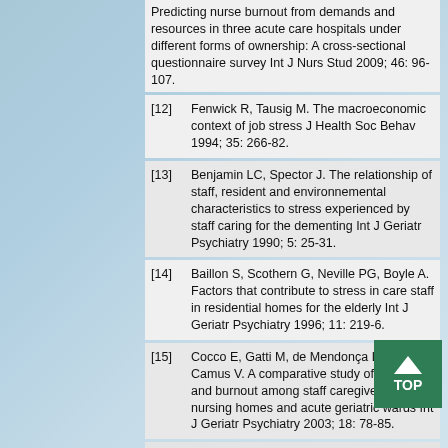Predicting nurse burnout from demands and resources in three acute care hospitals under different forms of ownership: A cross-sectional questionnaire survey Int J Nurs Stud 2009; 46: 96-107.
[12] Fenwick R, Tausig M. The macroeconomic context of job stress J Health Soc Behav 1994; 35: 266-82.
[13] Benjamin LC, Spector J. The relationship of staff, resident and environnemental characteristics to stress experienced by staff caring for the dementing Int J Geriatr Psychiatry 1990; 5: 25-31.
[14] Baillon S, Scothern G, Neville PG, Boyle A. Factors that contribute to stress in care staff in residential homes for the elderly Int J Geriatr Psychiatry 1996; 11: 219-6.
[15] Cocco E, Gatti M, de Mendonça Lima CA, Camus V. A comparative study of stress and burnout among staff caregivers in nursing homes and acute geriatric wards Int J Geriatr Psychiatry 2003; 18: 78-85.
[16] Goldhaar PR. Identifying psychiatric...